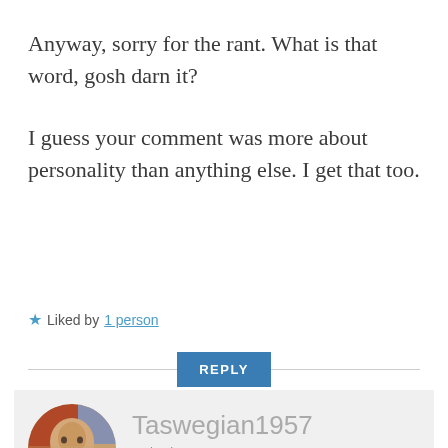Anyway, sorry for the rant. What is that word, gosh darn it?
I guess your comment was more about personality than anything else. I get that too.
★ Liked by 1 person
REPLY
Taswegian1957
19/05/2020 AT  4:09 PM
I agree with you although in my case it's just that I don't think about those